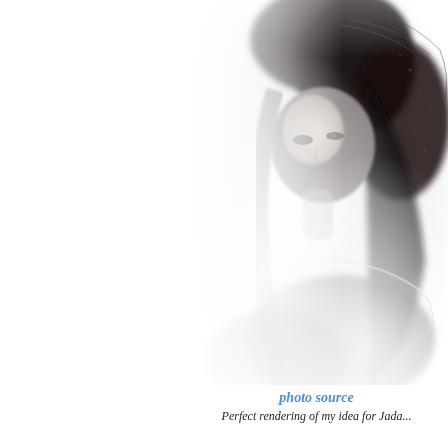[Figure (photo): Black and white photograph of a young woman with long dark hair, wearing a dark lace veil over her head and a delicate chain necklace. The image has a soft, misty, ethereal quality with a bright white background fading in around the edges.]
photo source
Perfect rendering of my idea for Jada...